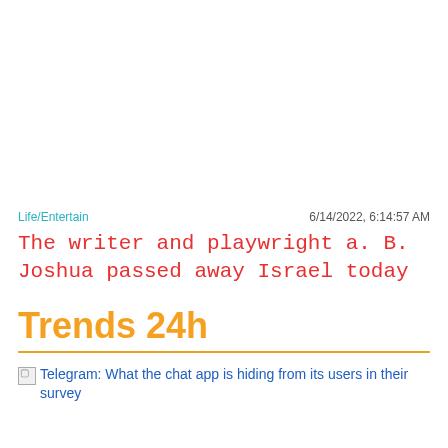Life/Entertain    6/14/2022, 6:14:57 AM
The writer and playwright a. B. Joshua passed away Israel today
Trends 24h
Telegram: What the chat app is hiding from its users in their survey